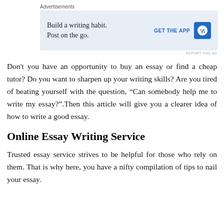[Figure (other): Advertisement banner for WordPress app: 'Build a writing habit. Post on the go.' with GET THE APP call-to-action and WordPress logo.]
Don't you have an opportunity to buy an essay or find a cheap tutor? Do you want to sharpen up your writing skills? Are you tired of beating yourself with the question, “Can somebody help me to write my essay?”.Then this article will give you a clearer idea of how to write a good essay.
Online Essay Writing Service
Trusted essay service strives to be helpful for those who rely on them. That is why here, you have a nifty compilation of tips to nail your essay.